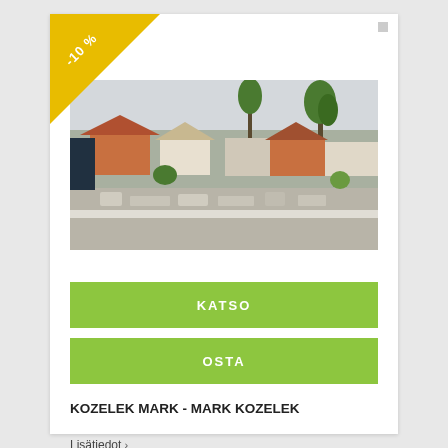[Figure (photo): Aerial/rooftop view of residential properties with palm trees, red-tiled roofs, and flat roof in foreground with HVAC units]
KATSO
OSTA
KOZELEK MARK - MARK KOZELEK
Lisätiedot ›